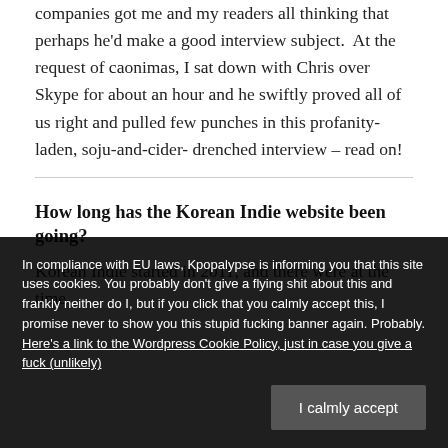companies got me and my readers all thinking that perhaps he'd make a good interview subject.  At the request of caonimas, I sat down with Chris over Skype for about an hour and he swiftly proved all of us right and pulled few punches in this profanity-laden, soju-and-cider-drenched interview – read on!
How long has the Korean Indie website been going?
Korean Indie started in 2011, and there were at the time
In compliance with EU laws, Kpopalypse is informing you that this site uses cookies. You probably don't give a flying shit about this and frankly neither do I, but if you click that you calmly accept this, I promise never to show you this stupid fucking banner again. Probably. Here's a link to the Wordpress Cookie Policy, just in case you give a fuck (unlikely)
I calmly accept